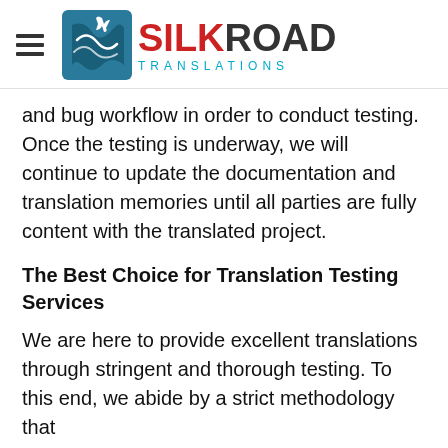SILKROAD TRANSLATIONS
and bug workflow in order to conduct testing. Once the testing is underway, we will continue to update the documentation and translation memories until all parties are fully content with the translated project.
The Best Choice for Translation Testing Services
We are here to provide excellent translations through stringent and thorough testing. To this end, we abide by a strict methodology that